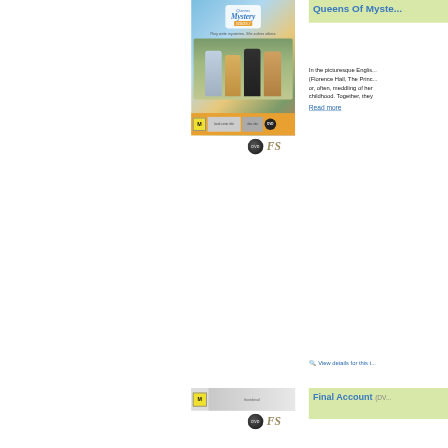[Figure (photo): DVD cover for Queens of Mystery Series 2 showing four women]
[Figure (logo): DVD badge and FS (full screen) format icons]
Queens Of Myste...
In the picturesque Englis... (Florence Hall, The Princ... or, often, meddling of her childhood. Together, they
Read more
| Label | Value |
| --- | --- |
| DVD Code | AMA10... |
| Barcode | 934905... |
| Released NZ | 12 May... |
| Publisher | Madma... |
| Series | Queen... |
| Availability | Avail... ships ... |
View details for this t...
[Figure (photo): Small DVD cover thumbnail with M rating]
[Figure (logo): DVD badge and FS format icons (bottom)]
Final Account (DV...